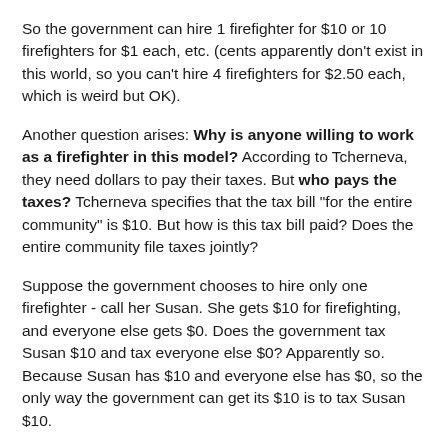So the government can hire 1 firefighter for $10 or 10 firefighters for $1 each, etc. (cents apparently don't exist in this world, so you can't hire 4 firefighters for $2.50 each, which is weird but OK).
Another question arises: Why is anyone willing to work as a firefighter in this model? According to Tcherneva, they need dollars to pay their taxes. But who pays the taxes? Tcherneva specifies that the tax bill "for the entire community" is $10. But how is this tax bill paid? Does the entire community file taxes jointly?
Suppose the government chooses to hire only one firefighter - call her Susan. She gets $10 for firefighting, and everyone else gets $0. Does the government tax Susan $10 and tax everyone else $0? Apparently so. Because Susan has $10 and everyone else has $0, so the only way the government can get its $10 is to tax Susan $10.
So why does Susan go fight fires in the first place? Firefighting takes work. If instead she decides to be